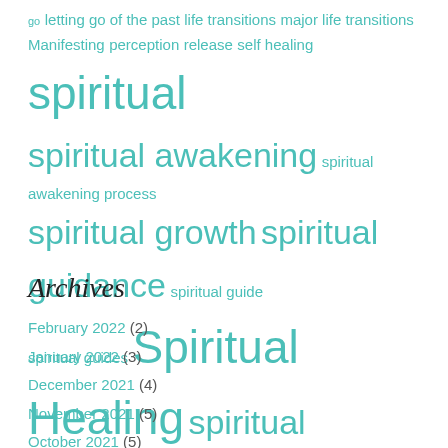go letting go of the past life transitions major life transitions Manifesting perception release self healing spiritual spiritual awakening spiritual awakening process spiritual growth spiritual guidance spiritual guide spiritual guides Spiritual Healing spiritual journey spiritual path spiritual perspective suffering the spiritual perspective unconscious beliefs universe
Archives
February 2022 (2)
January 2022 (3)
December 2021 (4)
November 2021 (5)
October 2021 (5)